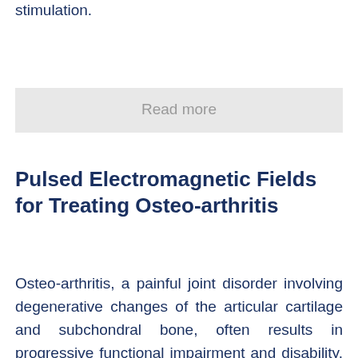stimulation.
Read more
Pulsed Electromagnetic Fields for Treating Osteo-arthritis
Osteo-arthritis, a painful joint disorder involving degenerative changes of the articular cartilage and subchondral bone, often results in progressive functional impairment and disability. One particular modality used by physiotherapists that shows very promising results in reducing the joint damage and pain found in osteo-arthritis is pulsed